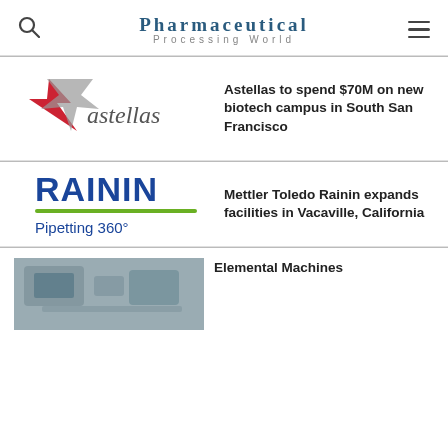Pharmaceutical Processing World
[Figure (logo): Astellas logo with red and grey star/arrow symbol]
Astellas to spend $70M on new biotech campus in South San Francisco
[Figure (logo): Rainin Pipetting 360° logo in blue with green underline]
Mettler Toledo Rainin expands facilities in Vacaville, California
[Figure (photo): Greyscale industrial/lab machinery photo]
Elemental Machines